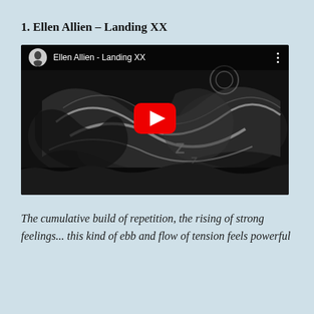1. Ellen Allien – Landing XX
[Figure (screenshot): YouTube video embed showing Ellen Allien - Landing XX with a black and white abstract/textured thumbnail image, YouTube play button overlay, and video title bar at top]
The cumulative build of repetition, the rising of strong feelings... this kind of ebb and flow of tension feels powerful